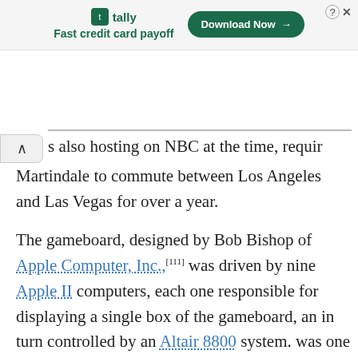[Figure (screenshot): Tally advertisement banner with logo, tagline 'Fast credit card payoff', and 'Download Now' button]
s also hosting on NBC at the time, requir Martindale to commute between Los Angeles and Las Vegas for over a year.
The gameboard, designed by Bob Bishop of Apple Computer, Inc.,[111] was driven by nine Apple II computers, each one responsible for displaying a single box of the gameboard, an in turn controlled by an Altair 8800 system. was one of the first uses of computer graphi